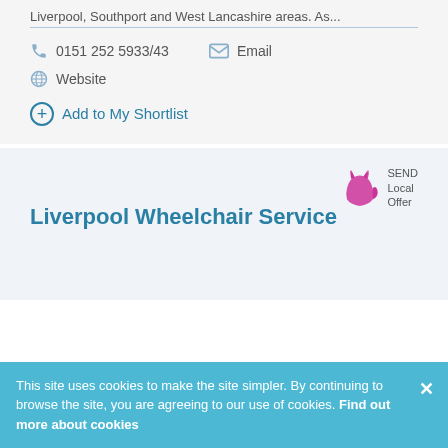Liverpool, Southport and West Lancashire areas. As...
0151 252 5933/43
Email
Website
Add to My Shortlist
[Figure (logo): SEND Local Offer logo with pink cat silhouette]
Liverpool Wheelchair Service
This site uses cookies to make the site simpler. By continuing to browse the site, you are agreeing to our use of cookies. Find out more about cookies